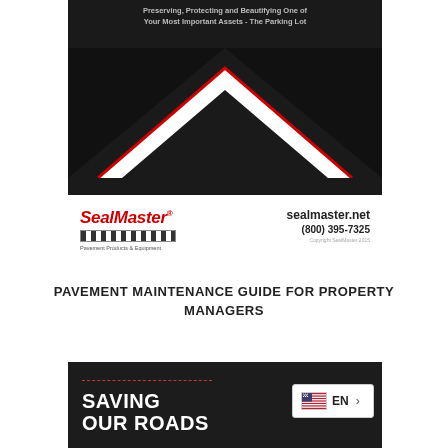[Figure (illustration): Book cover image with dark background, white chevron/triangle shape with red border, and title text 'Preserving, Protecting and Beautifying One of Your Most Important Assets - The Parking Lot']
[Figure (logo): SealMaster logo with red italic text, checkered bar, subtitle 'Pavement Products & Equipment', website 'sealmaster.net', phone '(800) 395-7325', copyright 'Copyright SealMaster 2015']
PAVEMENT MAINTENANCE GUIDE FOR PROPERTY MANAGERS
[Figure (illustration): Dark banner section at bottom showing 'SAVING OUR ROADS' in large bold white text with a red dashed line and a language switcher button showing US flag and EN]